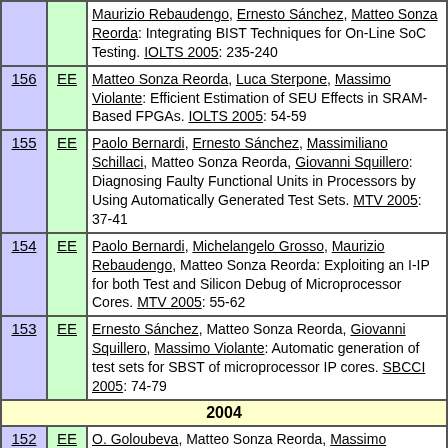| # | Type | Reference |
| --- | --- | --- |
|  | EE | Maurizio Rebaudengo, Ernesto Sánchez, Matteo Sonza Reorda: Integrating BIST Techniques for On-Line SoC Testing. IOLTS 2005: 235-240 |
| 156 | EE | Matteo Sonza Reorda, Luca Sterpone, Massimo Violante: Efficient Estimation of SEU Effects in SRAM-Based FPGAs. IOLTS 2005: 54-59 |
| 155 | EE | Paolo Bernardi, Ernesto Sánchez, Massimiliano Schillaci, Matteo Sonza Reorda, Giovanni Squillero: Diagnosing Faulty Functional Units in Processors by Using Automatically Generated Test Sets. MTV 2005: 37-41 |
| 154 | EE | Paolo Bernardi, Michelangelo Grosso, Maurizio Rebaudengo, Matteo Sonza Reorda: Exploiting an I-IP for both Test and Silicon Debug of Microprocessor Cores. MTV 2005: 55-62 |
| 153 | EE | Ernesto Sánchez, Matteo Sonza Reorda, Giovanni Squillero, Massimo Violante: Automatic generation of test sets for SBST of microprocessor IP cores. SBCCI 2005: 74-79 |
| 2004 |  |  |
| 152 | EE | O. Goloubeva, Matteo Sonza Reorda, Massimo Violante: Automatic Generation of Validation Stimuli for Application-Specific Processors. DATE 2004: 188-193 |